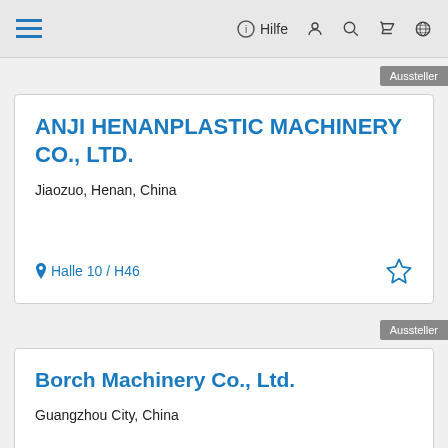≡  Hilfe 👤 🔍 🛒 🌐
Aussteller
ANJI HENANPLASTIC MACHINERY CO., LTD.
Jiaozuo, Henan, China
Halle 10 / H46
Aussteller
Borch Machinery Co., Ltd.
Guangzhou City, China